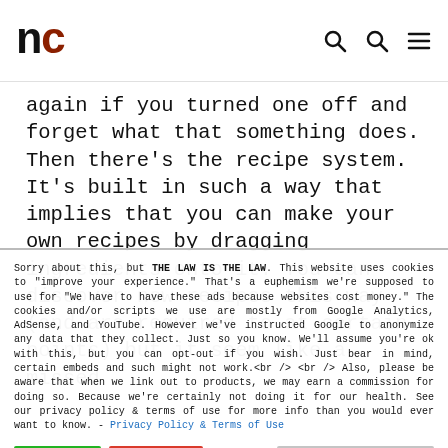nc
again if you turned one off and forget what that something does. Then there's the recipe system. It's built in such a way that implies that you can make your own recipes by dragging ingredients onto it. You can discover new recipes this way (and are required to at certain points) but it seem like a missed
Sorry about this, but THE LAW IS THE LAW. This website uses cookies to "improve your experience." That's a euphemism we're supposed to use for "We have to have these ads because websites cost money." The cookies and/or scripts we use are mostly from Google Analytics, AdSense, and YouTube. However we've instructed Google to anonymize any data that they collect. Just so you know. We'll assume you're ok with this, but you can opt-out if you wish. Just bear in mind, certain embeds and such might not work.<br /> <br /> Also, please be aware that when we link out to products, we may earn a commission for doing so. Because we're certainly not doing it for our health. See our privacy policy & terms of use for more info than you would ever want to know. - Privacy Policy & Terms of Use